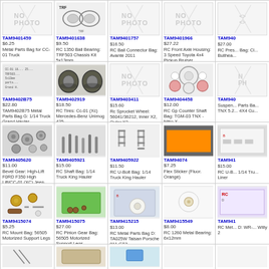| TAM9401459 $6.25 Metal Parts Bag for CC-01 Truck | TAM9401638 $9.50 RC 1350 Ball Bearing: TRF503 Chassis Kit 5x13mm | TAM9401757 $16.50 RC Ball Connector Bag: Avante 2011 | TAM9401966 $27.22 RC Front Axle Housing: 3 Speed Toyota 4x4 Pickup Bruiser | TAM940... $27.00 RC Pres... Bag: Cl... Bullhea... |
| TAM9402B75 $22.80 TAM9402B75 Metal Parts Bag G: 1/14 Truck Grand Hauler | TAM9402919 $18.50 RC Tires: Cc-01 (Xc) Mercedes-Benz Unimog 425 | TAM9403411 $15.60 Rc Sprocket Wheel: 56041/36212, Inner X2, Outer X2 | TAM9404458 $12.00 RC Gp Counter Shaft Bag: TGM-03 TNX - Nitro X | TAM940... Suspen... Parts Ba... TNX 5.2... 4X4 Cu... |
| TAM9405620 $11.00 Bevel Gear: High-Lift F0RD F350 High Lift/CC-01 (XC) Jeep Wrangl | TAM9405921 $15.00 RC Shaft Bag: 1/14 Truck King Hauler | TAM9405922 $11.50 RC U-Bolt Bag: 1/14 Truck King Hauler | TAM94074 $7.25 Flex Sticker (Fluor. Orange) | TAM941... $15.00 RC U-B... 1/14 Tru... Liner |
| TAM9415074 $5.25 RC Mount Bag: 56505 Motorized Support Legs | TAM9415075 $27.00 RC Pinion Gear Bag: 56505 Motorized Support Legs | TAM9415215 $13.00 RC Metal Parts Bag D: TA025W Taisan Porsche 911 GT2 | TAM9415549 $8.00 RC 1260 Metal Bearing: 6x12mm | TAM941... RC Met... D: WR-... Willy 2 |
| ... | ... | ... |  |  |